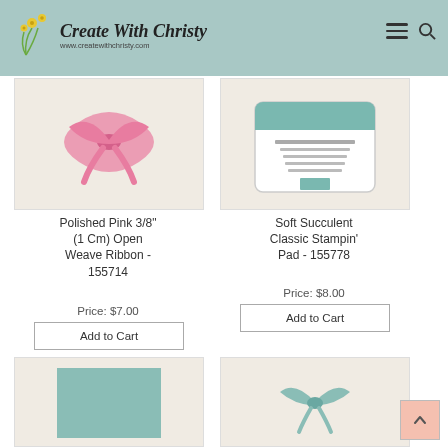Create With Christy - www.createwithchristy.com
[Figure (photo): Product photo of Polished Pink ribbon with pink bow on light background]
Polished Pink 3/8" (1 Cm) Open Weave Ribbon - 155714
Price: $7.00
Add to Cart
[Figure (photo): Product photo of Soft Succulent Classic Stampin' Pad ink pad with teal/green color]
Soft Succulent Classic Stampin' Pad - 155778
Price: $8.00
Add to Cart
[Figure (photo): Product photo showing a soft succulent colored cardstock square on light background]
[Figure (photo): Product photo showing a teal/mint ribbon bow on light fabric background]